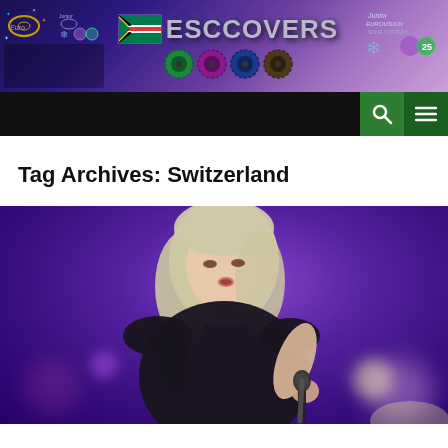[Figure (logo): ESCCovers website header banner with Eurovision Song Contest logo on left, South African flag with ESCCOVERS text in center, vinyl record icons below, and Junior Eurovision logo on right, all on a purple gradient background]
[Figure (other): Navigation bar with black background, green search button with magnifying glass icon, and dark green hamburger menu button]
Tag Archives: Switzerland
[Figure (photo): Female singer with blonde hair performing on stage, holding a microphone, wearing a dark sleeveless top, against a purple stage lighting background with bokeh effects]